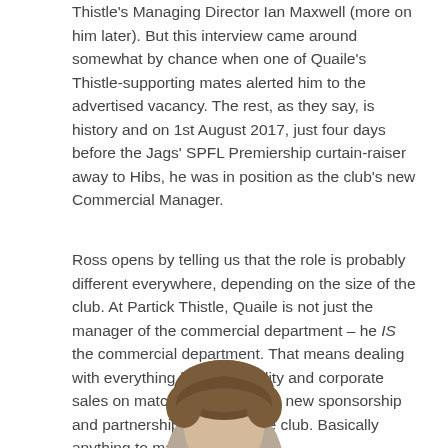Thistle's Managing Director Ian Maxwell (more on him later). But this interview came around somewhat by chance when one of Quaile's Thistle-supporting mates alerted him to the advertised vacancy. The rest, as they say, is history and on 1st August 2017, just four days before the Jags' SPFL Premiership curtain-raiser away to Hibs, he was in position as the club's new Commercial Manager.
Ross opens by telling us that the role is probably different everywhere, depending on the size of the club. At Partick Thistle, Quaile is not just the manager of the commercial department – he IS the commercial department. That means dealing with everything from hospitality and corporate sales on matchday, to bringing new sponsorship and partnership deals into the club. Basically anything to maximise revenue.
[Figure (photo): Partial photo of a person's head (top of head with brown hair visible) cropped at bottom of page]